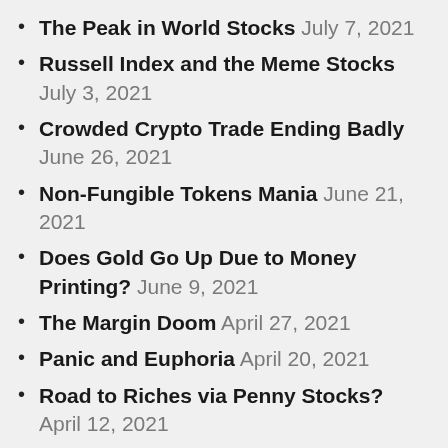The Peak in World Stocks July 7, 2021
Russell Index and the Meme Stocks July 3, 2021
Crowded Crypto Trade Ending Badly June 26, 2021
Non-Fungible Tokens Mania June 21, 2021
Does Gold Go Up Due to Money Printing? June 9, 2021
The Margin Doom April 27, 2021
Panic and Euphoria April 20, 2021
Road to Riches via Penny Stocks? April 12, 2021
Record High Junk Bond Demand April 12, 2021
Inflation or Deflation? March 18, 2021
Bullish Sentiment Extreme March 4,